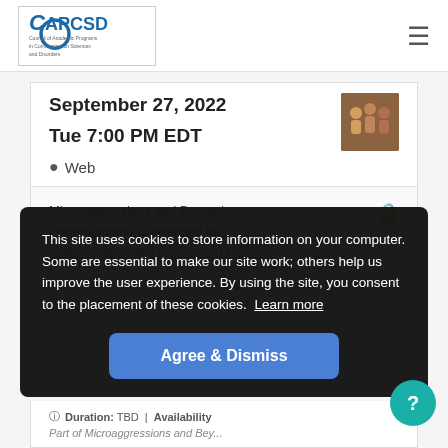CAPCSD – Council of Academic Programs in Communication Sciences and Disorders
September 27, 2022
Tue 7:00 PM EDT
📍 Web
Microaggressions and Beyond: Understanding Challenges for Underrepresented Students in CSD
This webinar will explore ways to build inclusive programs of students, faculty, and community of practice.
This site uses cookies to store information on your computer. Some are essential to make our site work; others help us improve the user experience. By using the site, you consent to the placement of these cookies.  Learn more
Agree & Dismiss
Duration: TBD  |  Availability
Part of Microaggressions and Bey...